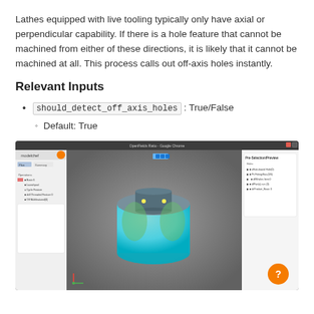Lathes equipped with live tooling typically only have axial or perpendicular capability. If there is a hole feature that cannot be machined from either of these directions, it is likely that it cannot be machined at all. This process calls out off-axis holes instantly.
Relevant Inputs
should_detect_off_axis_holes : True/False
Default: True
[Figure (screenshot): Screenshot of a CAD/CAM software (OpenFields/Google Chrome browser window) showing a 3D cylindrical part with a rectangular slot feature on top. The part is rendered in teal/blue with green highlighted faces and dark gray slot. A sidebar shows a feature tree. A panel on the right shows analysis results. An orange help button (?) is visible in the bottom right corner.]